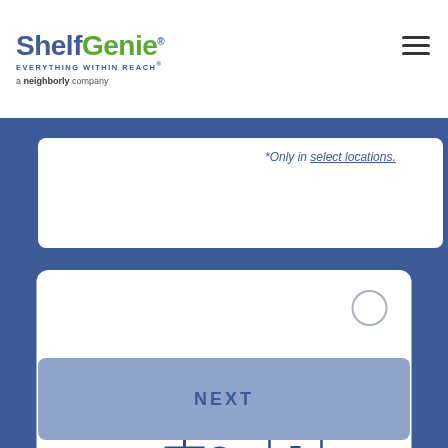[Figure (logo): ShelfGenie logo with tagline 'EVERYTHING WITHIN REACH' and 'a Neighborly company']
*Only in select locations.
[Figure (illustration): Home office / creative space icon showing a desk with computer monitor, office chair, clock, and filing cabinet drawers, drawn in blue outline style]
Creative Space
NEXT